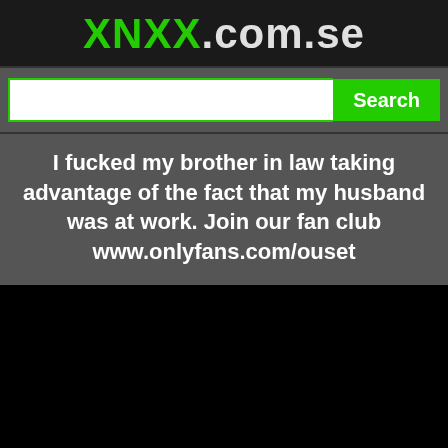XNXX.com.se
Search
I fucked my brother in law taking advantage of the fact that my husband was at work. Join our fan club www.onlyfans.com/ouset
[Figure (other): Black video player area]